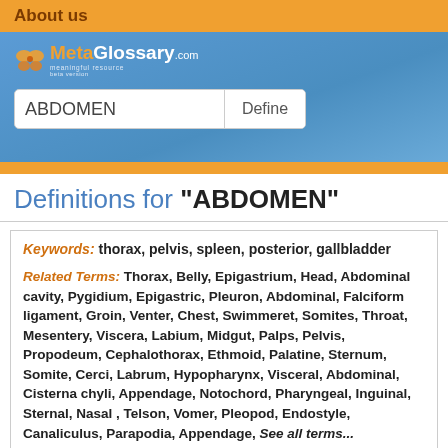About us
[Figure (screenshot): MetaGlossary.com logo with orange butterfly icon on blue banner background with search bar showing 'ABDOMEN' and a 'Define' button]
Definitions for "ABDOMEN"
Keywords: thorax, pelvis, spleen, posterior, gallbladder
Related Terms: Thorax, Belly, Epigastrium, Head, Abdominal cavity, Pygidium, Epigastric, Pleuron, Abdominal, Falciform ligament, Groin, Venter, Chest, Swimmeret, Somites, Throat, Mesentery, Viscera, Labium, Midgut, Palps, Pelvis, Propodeum, Cephalothorax, Ethmoid, Palatine, Sternum, Somite, Cerci, Labrum, Hypopharynx, Visceral, Abdominal, Cisterna chyli, Appendage, Notochord, Pharyngeal, Inguinal, Sternal, Nasal, Telson, Vomer, Pleopod, Endostyle, Canaliculus, Parapodia, Appendage, ...